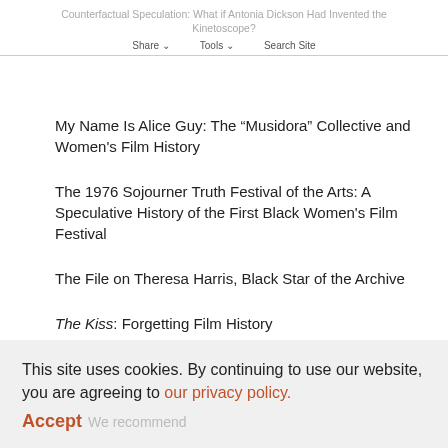Counterfactual Speculation: What if Antonia Dickson Had Invented the Kinetoscope?
My Name Is Alice Guy: The “Musidora” Collective and Women's Film History
The 1976 Sojourner Truth Festival of the Arts: A Speculative History of the First Black Women's Film Festival
The File on Theresa Harris, Black Star of the Archive
The Kiss: Forgetting Film History
This site uses cookies. By continuing to use our website, you are agreeing to our privacy policy. Accept We recommend